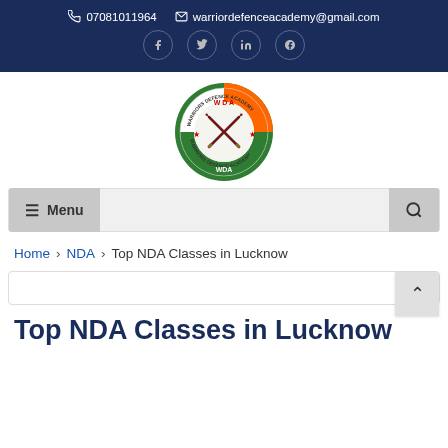07081011964  warriordefenceacademy@gmail.com
[Figure (logo): Warriors Defence Academy circular logo with WDA initials, crossed swords, Indian tricolor (orange, white, green), stars, and text 'Warriors Defence Academy' around the border]
≡ Menu
Home › NDA › Top NDA Classes in Lucknow
Top NDA Classes in Lucknow